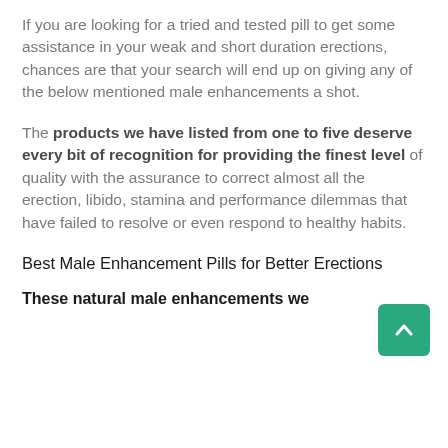If you are looking for a tried and tested pill to get some assistance in your weak and short duration erections, chances are that your search will end up on giving any of the below mentioned male enhancements a shot.
The products we have listed from one to five deserve every bit of recognition for providing the finest level of quality with the assurance to correct almost all the erection, libido, stamina and performance dilemmas that have failed to resolve or even respond to healthy habits.
Best Male Enhancement Pills for Better Erections
These natural male enhancements we